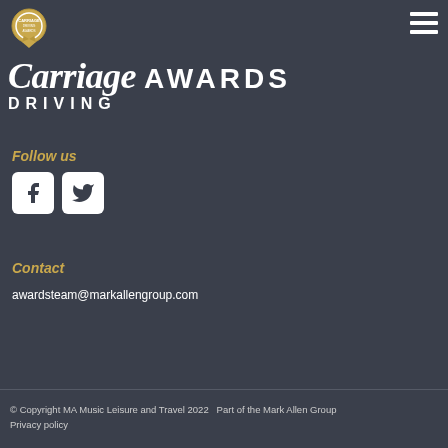[Figure (logo): Carriage Driving Awards gold medal badge logo in top left corner]
[Figure (logo): Hamburger menu icon (three horizontal lines) in top right corner]
Carriage AWARDS DRIVING
Follow us
[Figure (illustration): Facebook icon white on white square rounded background]
[Figure (illustration): Twitter bird icon white on white square rounded background]
Contact
awardsteam@markallengroup.com
© Copyright MA Music Leisure and Travel 2022   Part of the Mark Allen Group
Privacy policy